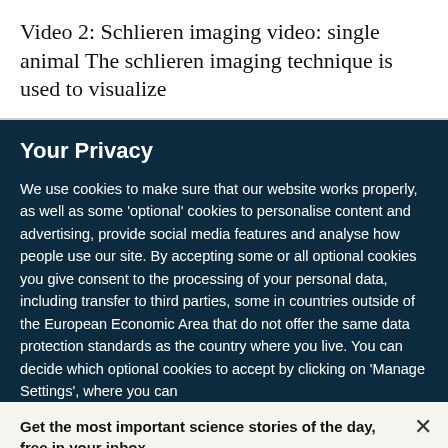Video 2: Schlieren imaging video: single animal The schlieren imaging technique is used to visualize
Your Privacy
We use cookies to make sure that our website works properly, as well as some 'optional' cookies to personalise content and advertising, provide social media features and analyse how people use our site. By accepting some or all optional cookies you give consent to the processing of your personal data, including transfer to third parties, some in countries outside of the European Economic Area that do not offer the same data protection standards as the country where you live. You can decide which optional cookies to accept by clicking on 'Manage Settings', where you can
Get the most important science stories of the day, free in your inbox.
Sign up for Nature Briefing